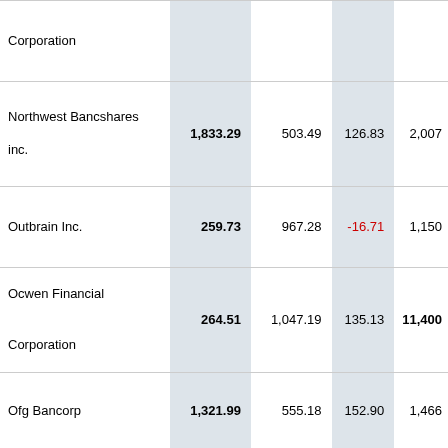| Corporation |  |  |  |  |
| Northwest Bancshares inc. | 1,833.29 | 503.49 | 126.83 | 2,007 |
| Outbrain Inc. | 259.73 | 967.28 | -16.71 | 1,150 |
| Ocwen Financial Corporation | 264.51 | 1,047.19 | 135.13 | 11,400 |
| Ofg Bancorp | 1,321.99 | 555.18 | 152.90 | 1,466 |
| On Deck Capital Inc | 109.70 | 175.25 | -48.21 | 638 |
| Old Republic |  |  |  |  |